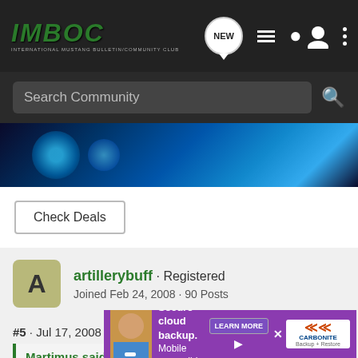IMBOC - International Mustang Bulletin/Community Club
Search Community
[Figure (photo): Dark blue-toned close-up photo of a metal mechanical part or gun component]
Check Deals
artillerybuff · Registered
Joined Feb 24, 2008 · 90 Posts
#5 · Jul 17, 2008
Martimus said:
Rumor has it that the basic capability is available in all S197 Mustangs... one proves...
[Figure (photo): Ad banner: Secure cloud backup. Mobile accessible. - Carbonite with child photo]